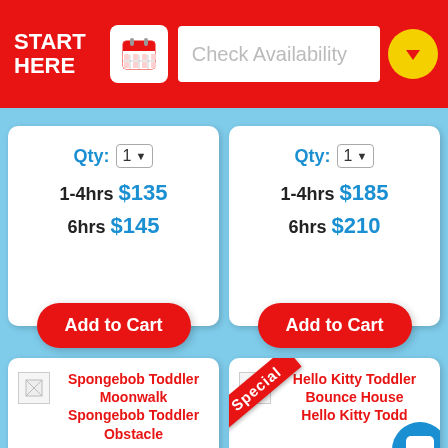START HERE | Check Availability
Qty: 1 ▾
1-4hrs $135
6hrs $145
Qty: 1 ▾
1-4hrs $185
6hrs $210
Add to Cart
Add to Cart
Spongebob Toddler Moonwalk
Spongebob Toddler Obstacle
Special
Hello Kitty Toddler Bounce House
Hello Kitty Todd…